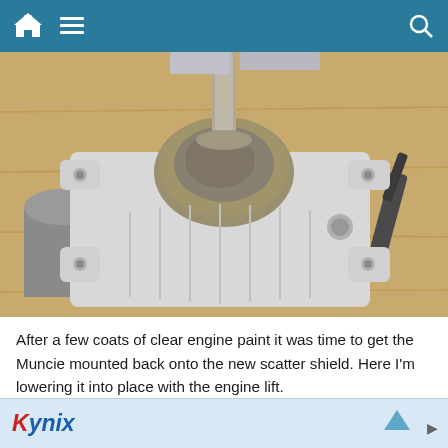Navigation bar with home, menu, and search icons
[Figure (photo): Photograph of a Muncie transmission (gearbox) being lowered onto a new scatter shield using an engine lift. The cast aluminum/steel component is painted white/light grey, with a metal shaft protruding from the top center and several bolt holes visible on the mounting flange. The part sits on a wooden surface with other tools and components visible in the background.]
After a few coats of clear engine paint it was time to get the Muncie mounted back onto the new scatter shield. Here I'm lowering it into place with the engine lift.
[Figure (logo): Kynix advertisement banner with Kynix logo in red and blue italic text, a blue upward arrow icon, and a close button.]